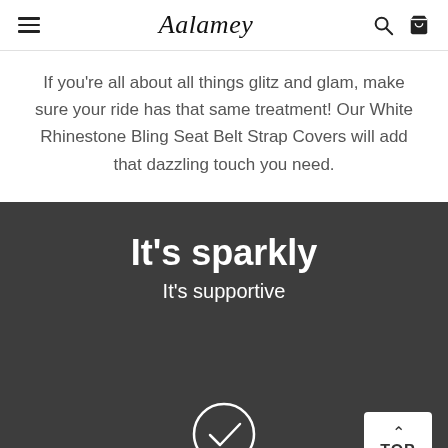Aalamey
If you're all about all things glitz and glam, make sure your ride has that same treatment! Our White Rhinestone Bling Seat Belt Strap Covers will add that dazzling touch you need.
It's sparkly
It's supportive
[Figure (illustration): Circle with a checkmark icon in white on dark background]
TOP